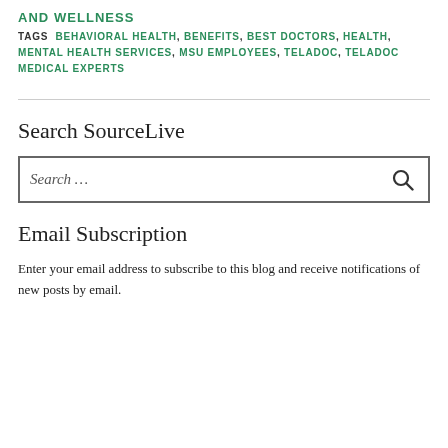AND WELLNESS
TAGS  BEHAVIORAL HEALTH, BENEFITS, BEST DOCTORS, HEALTH, MENTAL HEALTH SERVICES, MSU EMPLOYEES, TELADOC, TELADOC MEDICAL EXPERTS
Search SourceLive
Email Subscription
Enter your email address to subscribe to this blog and receive notifications of new posts by email.